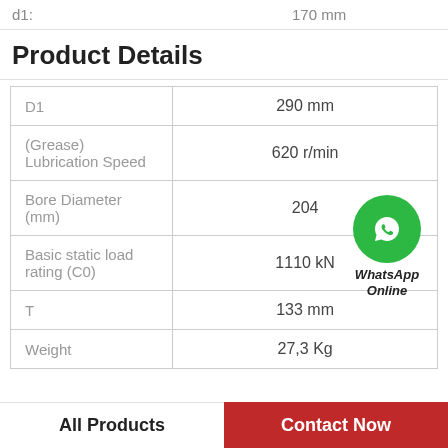d1:    170 mm
Product Details
| Property | Value |
| --- | --- |
| D1 | 290 mm |
| (Grease) Lubrication Speed | 620 r/min |
| Bore Diameter (mm) | 204 |
| Basic static load rating (C0) | 1110 kN |
| T | 133 mm |
| Weight | 27,3 Kg |
[Figure (logo): WhatsApp Online green icon with phone handset, labeled WhatsApp Online]
All Products
Contact Now